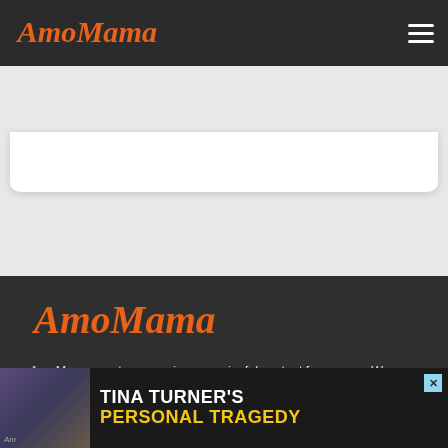AmoMama
[Figure (logo): AmoMama logo in orange script font on dark navbar]
[Figure (logo): AmoMama logo in orange script font in dark footer section]
AmoMama creates engaging, meaningful content for women. We collect and tell stories of people from all around the world.
We believe that every person's story is important as it provides our community with an opportunity to feel a sense of belonging, share
[Figure (photo): Advertisement banner showing a woman's photo with text TINA TURNER'S PERSONAL TRAGEDY in yellow on dark background]